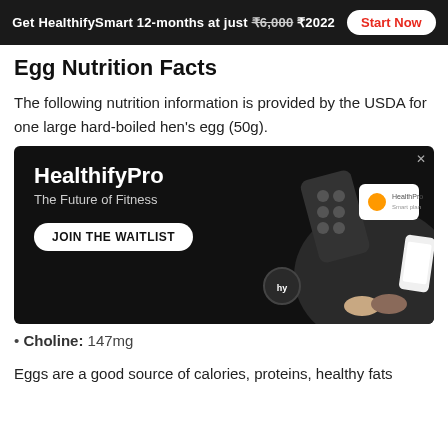Get HealthifySmart 12-months at just ₹6,000 ₹2022  Start Now
Egg Nutrition Facts
The following nutrition information is provided by the USDA for one large hard-boiled hen's egg (50g).
[Figure (other): HealthifyPro advertisement banner on black background with text 'HealthifyPro - The Future of Fitness', a 'JOIN THE WAITLIST' button, and images of fitness devices and two people posing.]
Choline: 147mg
Eggs are a good source of calories, proteins, healthy fats